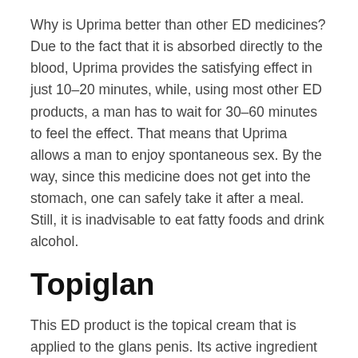Why is Uprima better than other ED medicines? Due to the fact that it is absorbed directly to the blood, Uprima provides the satisfying effect in just 10–20 minutes, while, using most other ED products, a man has to wait for 30–60 minutes to feel the effect. That means that Uprima allows a man to enjoy spontaneous sex. By the way, since this medicine does not get into the stomach, one can safely take it after a meal. Still, it is inadvisable to eat fatty foods and drink alcohol.
Topiglan
This ED product is the topical cream that is applied to the glans penis. Its active ingredient is the PGE1 alprostadil. Like the majority of other ED medicines, this active substance assists erections by widening the blood vessels in the penis and increasing the blood tension in